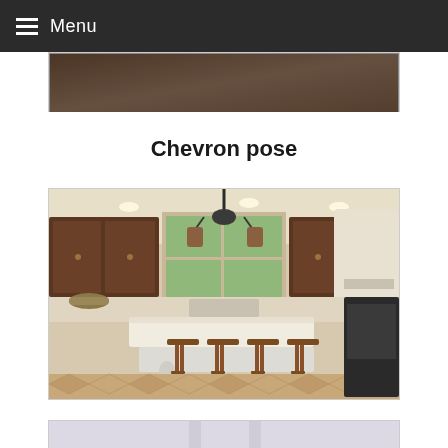Menu
[Figure (photo): Partial photo strip at top of page (cropped image)]
Chevron pose
[Figure (photo): Kitchen interior with chevron/herringbone wood floor pattern, dark wood cabinets, white island with bar stools, pendant chandelier]
[Figure (photo): Partial photo of interior room at bottom of page (cropped)]